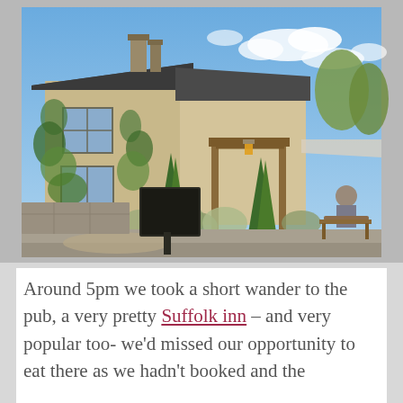[Figure (photo): Exterior photograph of a traditional English Suffolk inn or pub. Stone and brick building with dark slate roof, two chimneys, covered in climbing ivy and plants. Wooden pergola/porch structure visible, outdoor seating area with a person seated at a bench table. Surrounding garden with tall conifer trees, shrubs and ornamental plants. Blue sky with scattered white clouds in the background. A dark wooden sign is visible in the foreground.]
Around 5pm we took a short wander to the pub, a very pretty Suffolk inn – and very popular too- we'd missed our opportunity to eat there as we hadn't booked and the